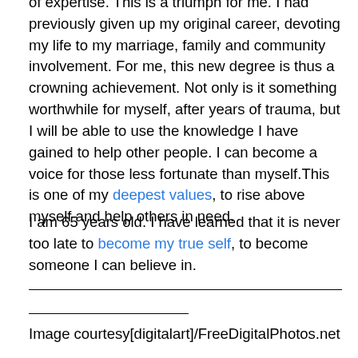of expertise. This is a triumph for me. I had previously given up my original career, devoting my life to my marriage, family and community involvement. For me, this new degree is thus a crowning achievement. Not only is it something worthwhile for myself, after years of trauma, but I will be able to use the knowledge I have gained to help other people. I can become a voice for those less fortunate than myself.This is one of my deepest values, to rise above myself and help others in need.
I am 65 years old. I have learned that it is never too late to become my true self, to become someone I can believe in.
Image courtesy[digitalart]/FreeDigitalPhotos.net